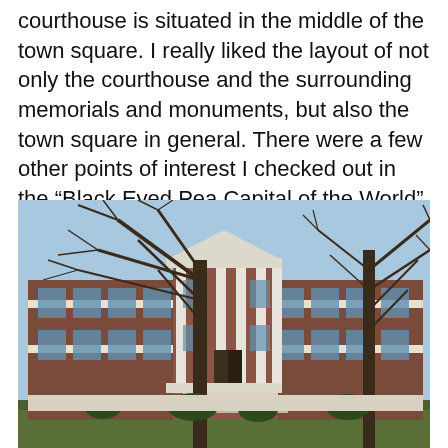courthouse is situated in the middle of the town square. I really liked the layout of not only the courthouse and the surrounding memorials and monuments, but also the town square in general. There were a few other points of interest I checked out in the “Black Eyed Pea Capital of the World”.
[Figure (photo): Outdoor photograph of a brick courthouse building with white classical columns and a triangular pediment, bare-branched trees in the foreground, blue sky background.]